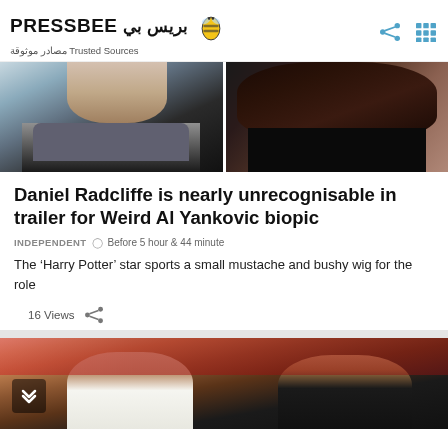PRESSBEE بريس بي — Trusted Sources مصادر موثوقة
[Figure (photo): Two cropped portrait photos side by side: left shows a man in grey blazer and dark shirt, right shows a woman with curly dark hair]
Daniel Radcliffe is nearly unrecognisable in trailer for Weird Al Yankovic biopic
INDEPENDENT  Before 5 hour & 44 minute
The 'Harry Potter' star sports a small mustache and bushy wig for the role
16 Views
[Figure (photo): Photo of Meghan Markle and Prince Harry smiling together, Harry wearing a black Invictus Games polo shirt]